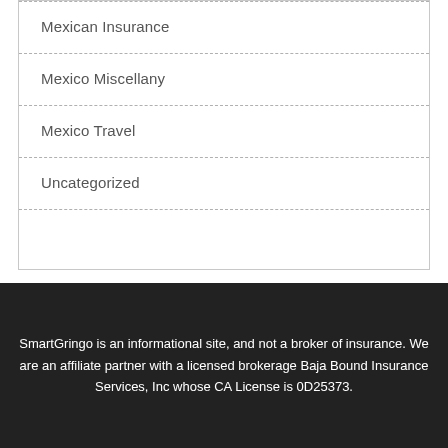Mexican Insurance
Mexico Miscellany
Mexico Travel
Uncategorized
SmartGringo is an informational site, and not a broker of insurance. We are an affiliate partner with a licensed brokerage Baja Bound Insurance Services, Inc whose CA License is 0D25373.